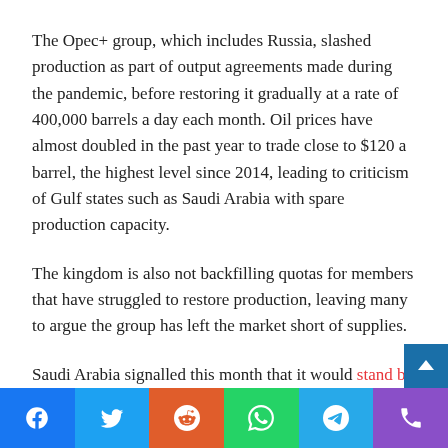The Opec+ group, which includes Russia, slashed production as part of output agreements made during the pandemic, before restoring it gradually at a rate of 400,000 barrels a day each month. Oil prices have almost doubled in the past year to trade close to $120 a barrel, the highest level since 2014, leading to criticism of Gulf states such as Saudi Arabia with spare production capacity.
The kingdom is also not backfilling quotas for members that have struggled to restore production, leaving many to argue the group has left the market short of supplies.
Saudi Arabia signalled this month that it would stand by Russia as a member of Opec+ despite tightening western sanctions on Moscow.